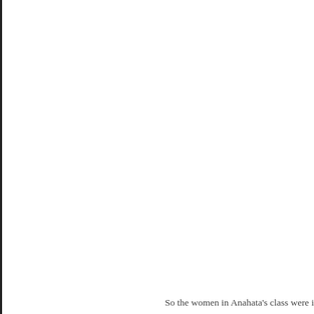So the women in Anahata's class were i